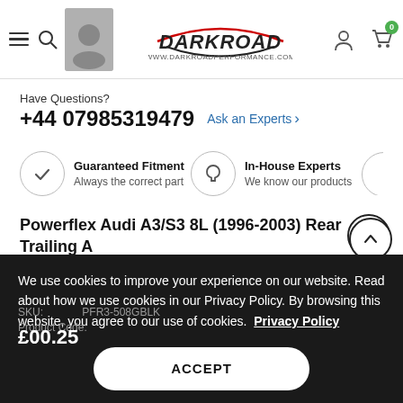DARKROAD | www.darkroadperformance.com
Have Questions?
+44 07985319479  Ask an Experts >
Guaranteed Fitment | Always the correct part
In-House Experts | We know our products
Powerflex Audi A3/S3 8L (1996-2003) Rear Trailing Arm Front Bush Toe Adjust PFR3-508GBLK
15 sold in last 18 days
We use cookies to improve your experience on our website. Read about how we use cookies in our Privacy Policy. By browsing this website, you agree to our use of cookies. Privacy Policy
ACCEPT